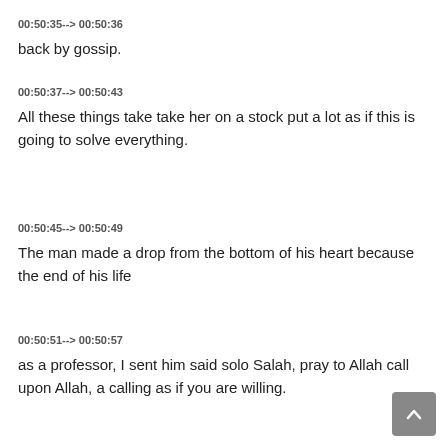00:50:35--> 00:50:36
back by gossip.
00:50:37--> 00:50:43
All these things take take her on a stock put a lot as if this is going to solve everything.
00:50:45--> 00:50:49
The man made a drop from the bottom of his heart because the end of his life
00:50:51--> 00:50:57
as a professor, I sent him said solo Salah, pray to Allah call upon Allah, a calling as if you are willing.